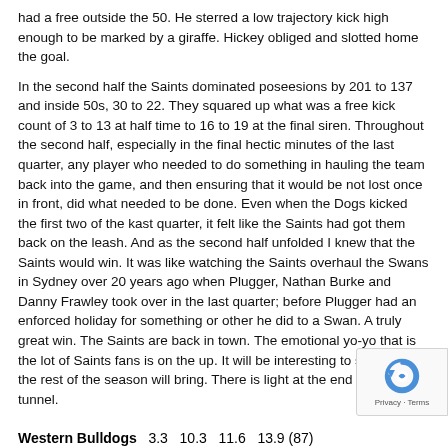had a free outside the 50. He sterred a low trajectory kick high enough to be marked by a giraffe. Hickey obliged and slotted home the goal.
In the second half the Saints dominated poseesions by 201 to 137 and inside 50s, 30 to 22. They squared up what was a free kick count of 3 to 13 at half time to 16 to 19 at the final siren. Throughout the second half, especially in the final hectic minutes of the last quarter, any player who needed to do something in hauling the team back into the game, and then ensuring that it would be not lost once in front, did what needed to be done. Even when the Dogs kicked the first two of the kast quarter, it felt like the Saints had got them back on the leash. And as the second half unfolded I knew that the Saints would win. It was like watching the Saints overhaul the Swans in Sydney over 20 years ago when Plugger, Nathan Burke and Danny Frawley took over in the last quarter; before Plugger had an enforced holiday for something or other he did to a Swan. A truly great win. The Saints are back in town. The emotional yo-yo that is the lot of Saints fans is on the up. It will be interesting to see what the rest of the season will bring. There is light at the end of the tunnel.
Western Bulldogs   3.3   10.3   11.6   13.9 (87)
St. Kilda          2.2    2.3    9.6   14.10 (94)
Goals
Western Bulldogs: Stringer 4, Picken 2, Goodes, Stevens, Wood, Crameri,